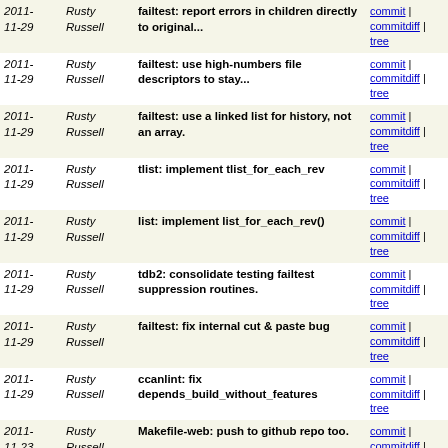| Date | Author | Message | Links |
| --- | --- | --- | --- |
| 2011-11-29 | Rusty Russell | failtest: report errors in children directly to original... | commit | commitdiff | tree |
| 2011-11-29 | Rusty Russell | failtest: use high-numbers file descriptors to stay... | commit | commitdiff | tree |
| 2011-11-29 | Rusty Russell | failtest: use a linked list for history, not an array. | commit | commitdiff | tree |
| 2011-11-29 | Rusty Russell | tlist: implement tlist_for_each_rev | commit | commitdiff | tree |
| 2011-11-29 | Rusty Russell | list: implement list_for_each_rev() | commit | commitdiff | tree |
| 2011-11-29 | Rusty Russell | tdb2: consolidate testing failtest suppression routines. | commit | commitdiff | tree |
| 2011-11-29 | Rusty Russell | failtest: fix internal cut & paste bug | commit | commitdiff | tree |
| 2011-11-29 | Rusty Russell | ccanlint: fix depends_build_without_features | commit | commitdiff | tree |
| 2011-11-23 | Rusty Russell | Makefile-web: push to github repo too. | commit | commitdiff | tree |
| 2011-11-21 | Rusty Russell | cast: fix warnings with -Wextra (specifically -Wmissing... | commit | commitdiff | tree |
| 2011-11-21 | Rusty Russell | list: simplify tests a little. | commit | commitdiff | tree |
| 2011-11-16 | Rusty Russell | ccanlint: fix --test-dep-graph | commit | commitdiff | tree |
| 2011-11-15 | Rusty Russell | ccanlint: make fewer tests compulsory. | commit | commitdiff | tree |
| 2011-11-... | Rusty | ccanlint: fix ccanlint -l | commit |